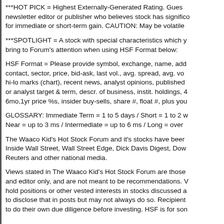***HOT PICK = Highest Externally-Generated Rating. Guest newsletter editor or publisher who believes stock has significant potential for immediate or short-term gain. CAUTION: May be volatile
***SPOTLIGHT = A stock with special characteristics which you bring to Forum's attention when using HSF Format below:
HSF Format = Please provide symbol, exchange, name, address, contact, sector, price, bid-ask, last vol., avg. spread, avg. vol., hi-lo marks (chart), recent news, analyst opinions, published or analyst target & term, descr. of business, instit. holdings, 4wk, 6mo,1yr price %s, insider buy-sells, share #, float #, plus you
GLOSSARY: Immediate Term = 1 to 5 days / Short = 1 to 2 w Near = up to 3 ms / Intermediate = up to 6 ms / Long = over
The Waaco Kid's Hot Stock Forum and it's stocks have been Inside Wall Street, Wall Street Edge, Dick Davis Digest, Dow Reuters and other national media.
Views stated in The Waaco Kid's Hot Stock Forum are those and editor only, and are not meant to be recommendations. hold positions or other vested interests in stocks discussed and to disclose that in posts but may not always do so. Recipients to do their own due diligence before investing. HSF is for son